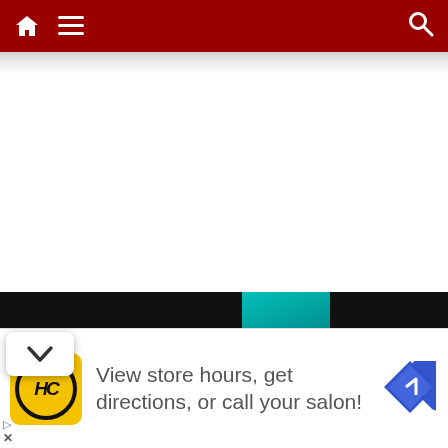Navigation bar with home icon, menu icon, and search icon
[Figure (screenshot): Dark image area with teal/cyan glow on right side, a horizontal bar element, and a red button in the bottom right corner — appears to be a video or media player thumbnail]
[Figure (screenshot): Chevron/down-arrow button overlay on the left side of the dark image area]
View store hours, get directions, or call your salon!
[Figure (logo): HC (Hair Club) logo — yellow circle with HC text inside on yellow background, with blue navigation arrow icon on the right]